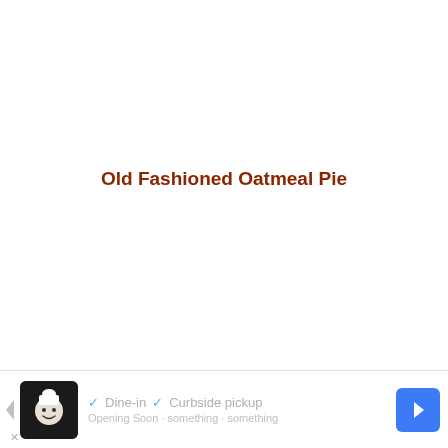Old Fashioned Oatmeal Pie
[Figure (other): Advertisement banner at bottom of page showing a restaurant logo with chef icon, checkmarks for Dine-in and Curbside pickup options, a blue navigation arrow icon, and a close X button.]